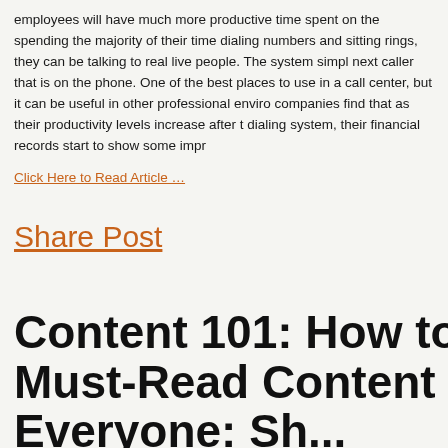employees will have much more productive time spent on the spending the majority of their time dialing numbers and sitting rings, they can be talking to real live people. The system simpl next caller that is on the phone. One of the best places to use in a call center, but it can be useful in other professional enviro companies find that as their productivity levels increase after t dialing system, their financial records start to show some impr
Click Here to Read Article …
Share Post
Content 101: How to Do Must-Read Content for Everyone: Shi...